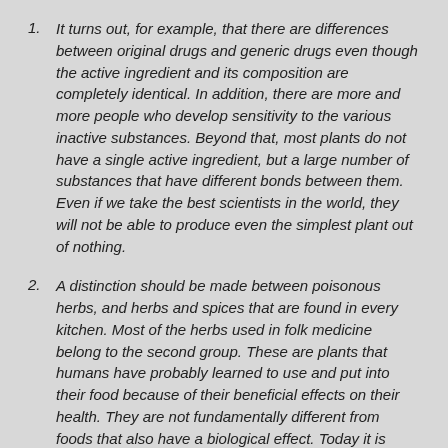It turns out, for example, that there are differences between original drugs and generic drugs even though the active ingredient and its composition are completely identical. In addition, there are more and more people who develop sensitivity to the various inactive substances. Beyond that, most plants do not have a single active ingredient, but a large number of substances that have different bonds between them. Even if we take the best scientists in the world, they will not be able to produce even the simplest plant out of nothing.
A distinction should be made between poisonous herbs, and herbs and spices that are found in every kitchen. Most of the herbs used in folk medicine belong to the second group. These are plants that humans have probably learned to use and put into their food because of their beneficial effects on their health. They are not fundamentally different from foods that also have a biological effect. Today it is known that many foods not only have an effect in terms of being a source of energy and building blocks, but also have an effect that is a control over various processes in the body.
Anyone who uses herbs is opposed to science and